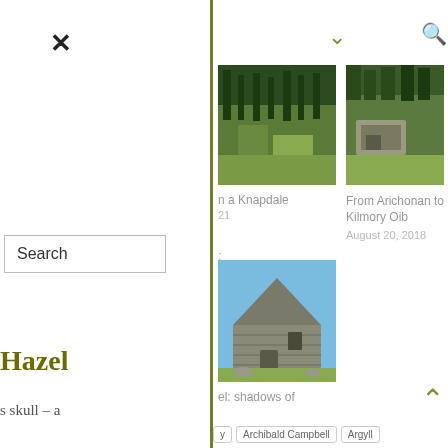[Figure (screenshot): Website/blog interface with search panel on left and article cards on right. Shows navigation icons (close X, chevron down, search), a Search button, card images for hiking/travel articles, article titles and dates, a Hazel label, skull text snippet, tags row, and back-to-top chevron.]
n a Knapdale
21
From Arichonan to Kilmory Oib
August 20, 2018
el: shadows of
Hazel
s skull – a
Archibald Campbell
Argyll